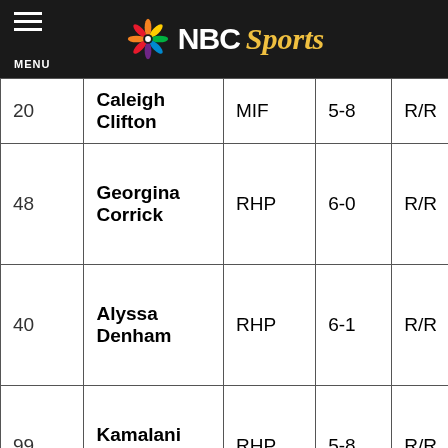NBC Sports
| # | Name | Pos | Ht | B/T | Hometown |
| --- | --- | --- | --- | --- | --- |
| 20 | Caleigh Clifton | MIF | 5-8 | R/R | Way... Okla... |
| 48 | Georgina Corrick | RHP | 6-0 | R/R | Port... Cha... Fla... |
| 40 | Alyssa Denham | RHP | 6-1 | R/R | Lea... Tex... |
| 99 | Kamalani Dung | RHP | 5-8 | R/R | Kap... Haw... |
| 44 | Carrie Eberle | RHP | 6-0 | R/R | Clea... Bea... |